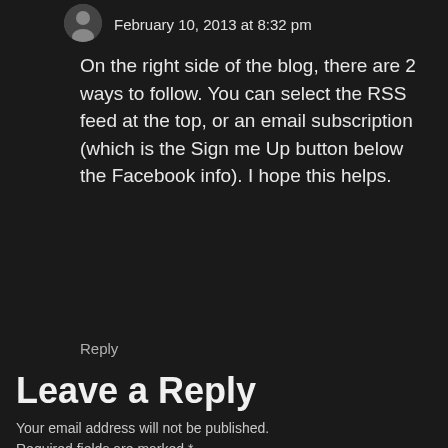February 10, 2013 at 8:32 pm
On the right side of the blog, there are 2 ways to follow. You can select the RSS feed at the top, or an email subscription (which is the Sign me Up button below the Facebook info). I hope this helps.
Reply
Leave a Reply
Your email address will not be published. Required fields are marked *